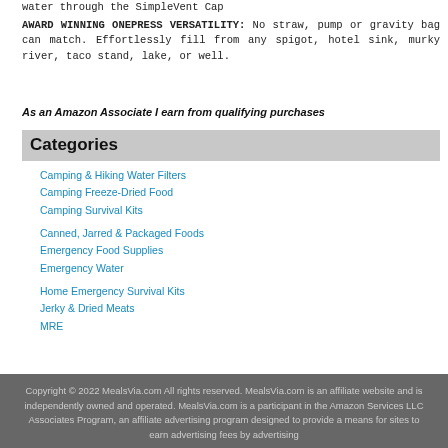water through the SimpleVent Cap AWARD WINNING ONEPRESS VERSATILITY: No straw, pump or gravity bag can match. Effortlessly fill from any spigot, hotel sink, murky river, taco stand, lake, or well.
As an Amazon Associate I earn from qualifying purchases
Categories
Camping & Hiking Water Filters
Camping Freeze-Dried Food
Camping Survival Kits
Canned, Jarred & Packaged Foods
Emergency Food Supplies
Emergency Water
Home Emergency Survival Kits
Jerky & Dried Meats
MRE
Copyright © 2022 MealsVia.com All rights reserved. MealsVia.com is an affiliate website and is independently owned and operated. MealsVia.com is a participant in the Amazon Services LLC Associates Program, an affiliate advertising program designed to provide a means for sites to earn advertising fees by advertising